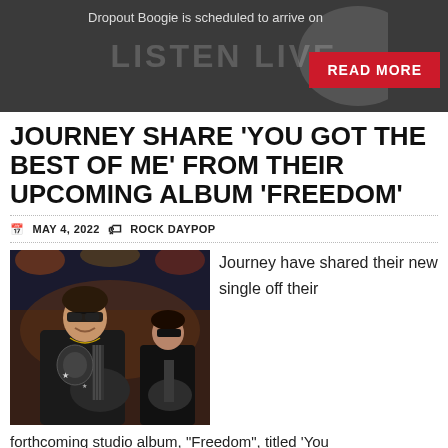Dropout Boogie is scheduled to arrive on
[Figure (screenshot): Banner with 'LISTEN LIVE' watermark text and READ MORE button on dark background]
JOURNEY SHARE ‘YOU GOT THE BEST OF ME’ FROM THEIR UPCOMING ALBUM ‘FREEDOM’
MAY 4, 2022  ROCK DAYPOP
[Figure (photo): Two guitarists performing on stage, one in foreground smiling and wearing sunglasses, one in background also playing guitar]
Journey have shared their new single off their forthcoming studio album, “Freedom”, titled ‘You